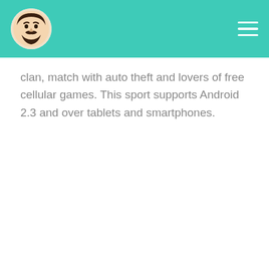clan, match with auto theft and lovers of free cellular games. This sport supports Android 2.3 and over tablets and smartphones.